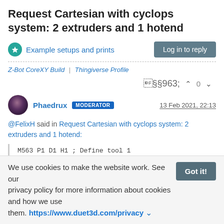Request Cartesian with cyclops system: 2 extruders and 1 hotend
Example setups and prints | Log in to reply
Z-Bot CoreXY Build | Thingiverse Profile
^ 0 v
Phaedrux MODERATOR  13 Feb 2021, 22:13
@FelixH said in Request Cartesian with cyclops system: 2 extruders and 1 hotend:
M563 P1 D1 H1 ; Define tool 1
We use cookies to make the website work. See our privacy policy for more information about cookies and how we use them. https://www.duet3d.com/privacy
I think the problem is that you have a second extruder drive extruder drive defined anywhere else.